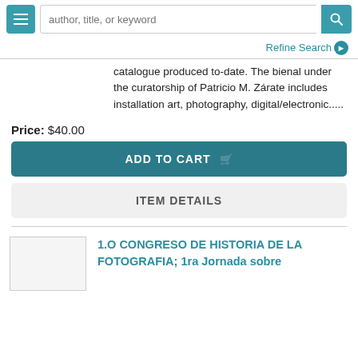author, title, or keyword
Refine Search
catalogue produced to-date. The bienal under the curatorship of Patricio M. Zárate includes installation art, photography, digital/electronic.....
Price: $40.00
ADD TO CART
ITEM DETAILS
1.O CONGRESO DE HISTORIA DE LA FOTOGRAFIA; 1ra Jornada sobre